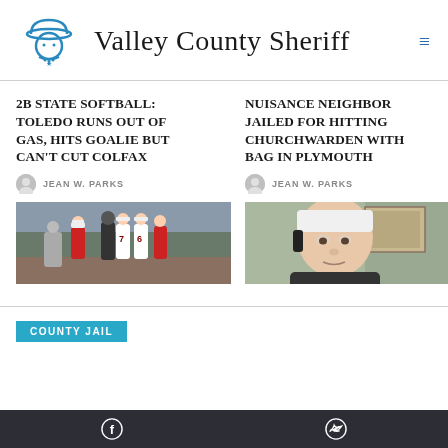Valley County Sheriff
2B STATE SOFTBALL: TOLEDO RUNS OUT OF GAS, HITS GOALIE BUT CAN'T CUT COLFAX
JEAN W. PARKS
[Figure (photo): Softball team players huddle with coach on field]
NUISANCE NEIGHBOR JAILED FOR HITTING CHURCHWARDEN WITH BAG IN PLYMOUTH
JEAN W. PARKS
[Figure (photo): Person with white bandage on head, close-up portrait]
COUNTY JAIL
Facebook | Twitter